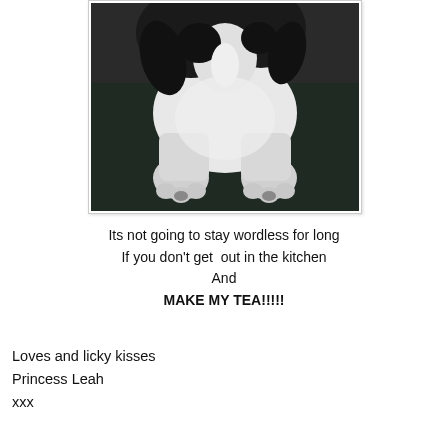[Figure (photo): A black and white dog (appears to be a Spaniel or Border Collie mix) photographed from above showing its head, body and paws on a dark floor surface.]
Its not going to stay wordless for long
If you don't get  out in the kitchen
And
MAKE MY TEA!!!!!
Loves and licky kisses
Princess Leah
xxx